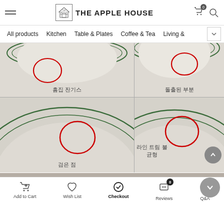THE APPLE HOUSE - navigation header
[Figure (screenshot): E-commerce website header with hamburger menu, THE APPLE HOUSE logo with house icon, shopping cart icon with badge 0, and search icon]
[Figure (screenshot): Navigation bar with category tabs: All products, Kitchen, Table & Plates, Coffee & Tea, Living &, with dropdown arrow]
[Figure (photo): Four product defect photos of ceramic plates with green stripes. Top-left: scratches labeled 흠집 잔기스. Top-right: protruding area labeled 돌출된 부분. Bottom-left (wider): black dot labeled 검은 점. Bottom-right: asymmetric line labeled 라인 비대칭 / 라인 트림 불균형. Each defect is circled in red.]
[Figure (screenshot): Bottom navigation bar with Add to Cart, Wish List, Checkout (bold/active), Reviews (badge 0), Q&A (badge 0) icons]